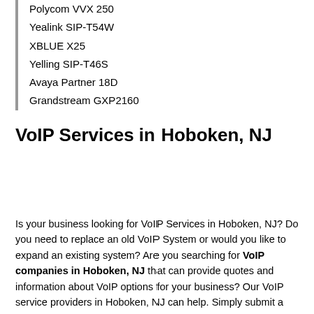Polycom VVX 250
Yealink SIP-T54W
XBLUE X25
Yelling SIP-T46S
Avaya Partner 18D
Grandstream GXP2160
VoIP Services in Hoboken, NJ
Is your business looking for VoIP Services in Hoboken, NJ? Do you need to replace an old VoIP System or would you like to expand an existing system? Are you searching for VoIP companies in Hoboken, NJ that can provide quotes and information about VoIP options for your business? Our VoIP service providers in Hoboken, NJ can help. Simply submit a quick quote form, and VoIP